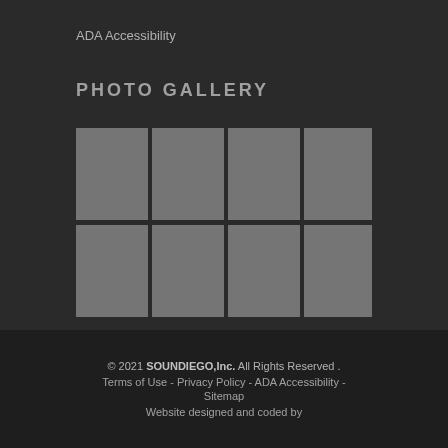ADA Accessibility
PHOTO GALLERY
[Figure (other): Photo gallery grid placeholder: 2 rows of 4 gray placeholder image boxes with dark separators]
© 2021 SOUNDIEGO,Inc. All Rights Reserved . Terms of Use - Privacy Policy - ADA Accessibility - Sitemap Website designed and coded by